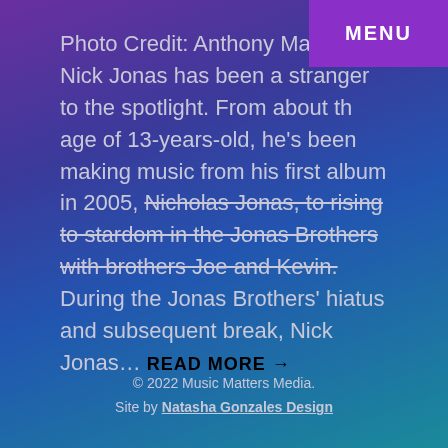MENU
Photo Credit: Anthony Mandler Nick Jonas has been a stranger to the spotlight. From about the age of 13-years-old, he's been making music from his first album in 2005, Nicholas Jonas, to rising to stardom in the Jonas Brothers with brothers Joe and Kevin. During the Jonas Brothers' hiatus and subsequent break, Nick Jonas… READ MORE →
© 2022 Music Matters Media. Site by Natasha Gonzales Design